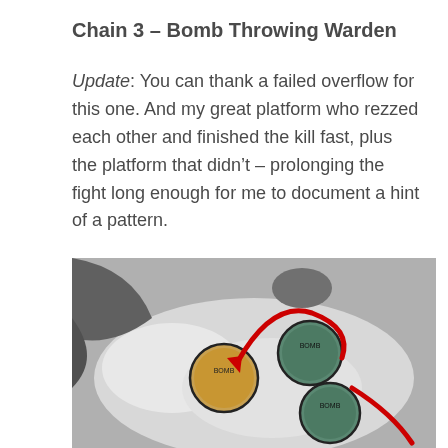Chain 3 – Bomb Throwing Warden
Update: You can thank a failed overflow for this one. And my great platform who rezzed each other and finished the kill fast, plus the platform that didn't – prolonging the fight long enough for me to document a hint of a pattern.
[Figure (screenshot): Screenshot from a game showing circular tokens or bombs on a grey/white background with a red arrow indicating movement from one token group to another.]